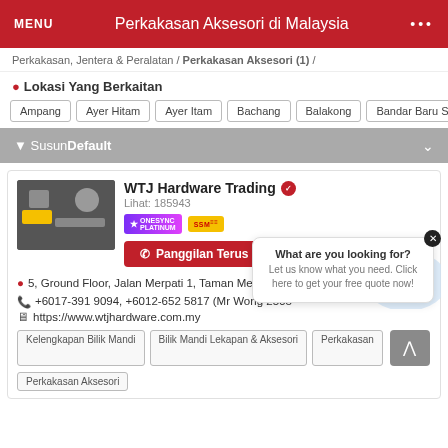MENU | Perkakasan Aksesori di Malaysia | ...
Perkakasan, Jentera & Peralatan / Perkakasan Aksesori (1) /
Lokasi Yang Berkaitan
Ampang
Ayer Hitam
Ayer Itam
Bachang
Balakong
Bandar Baru Sung
Susun Default
WTJ Hardware Trading
Lihat: 185943
[Figure (screenshot): ONESYNC PLATINUM and SSM badges]
Panggilan Terus
5, Ground Floor, Jalan Merpati 1, Taman Merpati, Negeri Sembilan, Malaysia.
+6017-391 9094, +6012-652 5817 (Mr Wong 2568
https://www.wtjhardware.com.my
Kelengkapan Bilik Mandi
Bilik Mandi Lekapan & Aksesori
Perkakasan
Perkakasan Aksesori